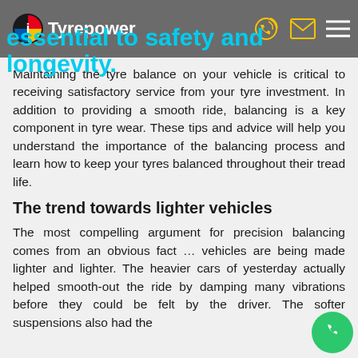Tyrepower
essential to safety and longevity.
Maintaining the tyre balance on your vehicle is critical to receiving satisfactory service from your tyre investment. In addition to providing a smooth ride, balancing is a key component in tyre wear. These tips and advice will help you understand the importance of the balancing process and learn how to keep your tyres balanced throughout their tread life.
The trend towards lighter vehicles
The most compelling argument for precision balancing comes from an obvious fact … vehicles are being made lighter and lighter. The heavier cars of yesterday actually helped smooth-out the ride by damping many vibrations before they could be felt by the driver. The softer suspensions also had the